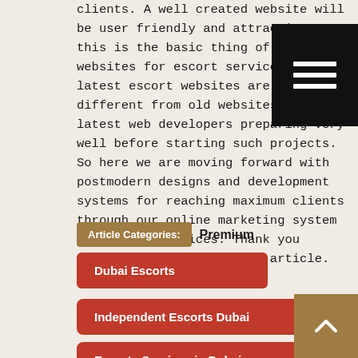clients. A well created website will be user friendly and attractive; this is the basic thing of innovative websites for escort services. The latest escort websites are extremely different from old websites and latest web developers preparing very well before starting such projects. So here we are moving forward with postmodern designs and development systems for reaching maximum clients through our online marketing system for escort services. Thank you everyone for reading this article.
Article Categories: Premium
Dubai Escorts
Independent Escorts Dubai
Escorts Services in Dubai